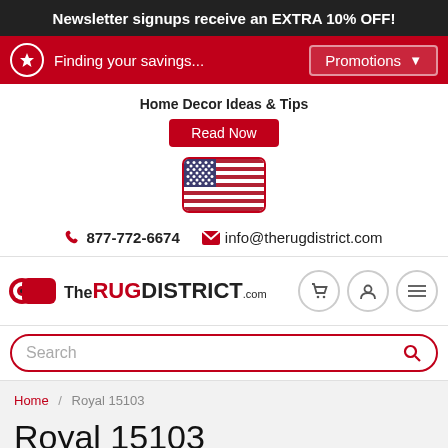Newsletter signups receive an EXTRA 10% OFF!
Finding your savings... Promotions
Home Decor Ideas & Tips
Read Now
[Figure (illustration): US flag icon with red and white stripes and blue canton with white stars, shown inside a rounded rectangle border]
877-772-6674   info@therugdistrict.com
[Figure (logo): TheRUGDISTRICT.com logo with a rolled rug icon on the left. 'The' in black, 'RUG' in red bold, 'DISTRICT' in black bold. Three circular icon buttons for cart, user, and menu on the right.]
Search
Home / Royal 15103
Royal 15103